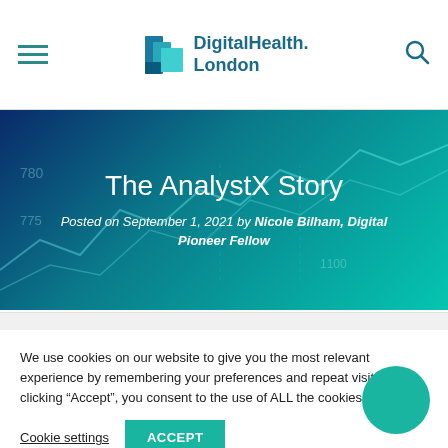DigitalHealth.London
[Figure (screenshot): Hero banner with dark blue to teal gradient background showing stock chart lines, containing the article title and author credit]
The AnalystX Story
Posted on September 1, 2021 by Nicole Bilham, Digital Pioneer Fellow
We use cookies on our website to give you the most relevant experience by remembering your preferences and repeat visits. By clicking “Accept”, you consent to the use of ALL the cookies.
Cookie settings  ACCEPT